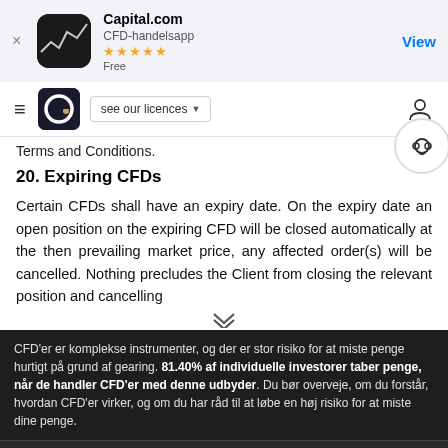[Figure (screenshot): App store banner for Capital.com CFD-handelsapp with 5 stars, Free, and View button]
[Figure (screenshot): Navigation bar with hamburger menu, Capital.com logo, see our licences dropdown, and user icon]
Terms and Conditions.
20. Expiring CFDs
Certain CFDs shall have an expiry date. On the expiry date an open position on the expiring CFD will be closed automatically at the then prevailing market price, any affected order(s) will be cancelled. Nothing precludes the Client from closing the relevant position and cancelling
CFD'er er komplekse instrumenter, og der er stor risiko for at miste penge hurtigt på grund af gearing. 81.40% af individuelle investorer taber penge, når de handler CFD'er med denne udbyder. Du bør overveje, om du forstår, hvordan CFD'er virker, og om du har råd til at løbe en høj risiko for at miste dine penge.
Når du bruger Capital.com-webstedet, accepterer du brugen af cookies.